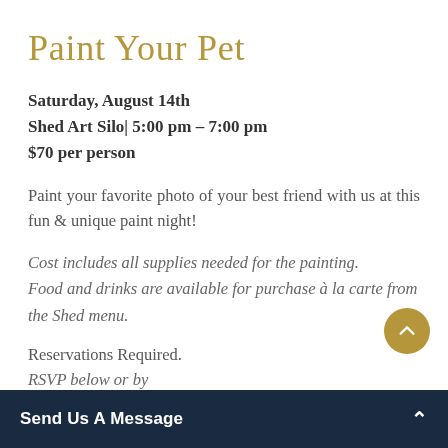Paint Your Pet
Saturday, August 14th
Shed Art Silo| 5:00 pm – 7:00 pm
$70 per person
Paint your favorite photo of your best friend with us at this fun & unique paint night!
Cost includes all supplies needed for the painting.
Food and drinks are available for purchase à la carte from the Shed menu.
Reservations Required.
RSVP below or by office at (435) 333
Send Us A Message